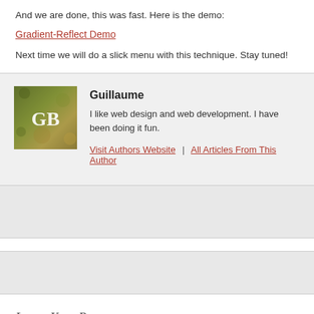And we are done, this was fast. Here is the demo:
Gradient-Reflect Demo
Next time we will do a slick menu with this technique. Stay tuned!
[Figure (photo): Author avatar image with letters GB on a textured green/brown background]
Guillaume
I like web design and web development. I have been doing it fun.
Visit Authors Website  |  All Articles From This Author
Leave Your Response